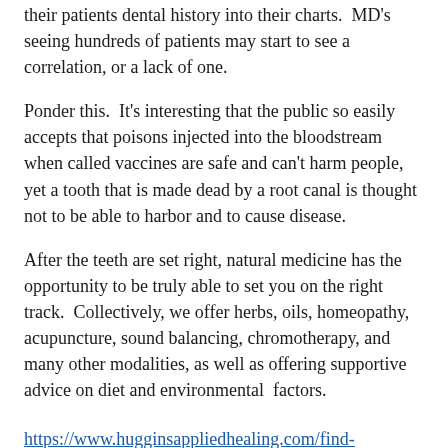their patients dental history into their charts.  MD's seeing hundreds of patients may start to see a correlation, or a lack of one.
Ponder this.  It's interesting that the public so easily accepts that poisons injected into the bloodstream when called vaccines are safe and can't harm people, yet a tooth that is made dead by a root canal is thought not to be able to harbor and to cause disease.
After the teeth are set right, natural medicine has the opportunity to be truly able to set you on the right track.  Collectively, we offer herbs, oils, homeopathy, acupuncture, sound balancing, chromotherapy, and many other modalities, as well as offering supportive advice on diet and environmental  factors.
https://www.hugginsappliedhealing.com/find-dentist.php
http://hugginsappliedhealing.com/store/
https://iaomt.org/intro-articles-biological-dentistry/